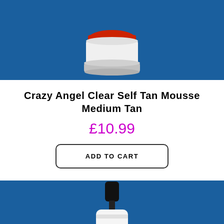[Figure (photo): Product photo of Crazy Angel Clear Self Tan Mousse on blue background, partially cropped at top]
Crazy Angel Clear Self Tan Mousse Medium Tan
£10.99
ADD TO CART
[Figure (photo): Product photo of a spray bottle on blue background, partially cropped at bottom]